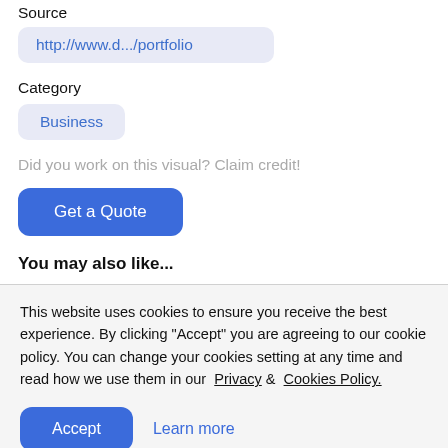Source
http://www.d.../portfolio
Category
Business
Did you work on this visual? Claim credit!
Get a Quote
You may also like...
This website uses cookies to ensure you receive the best experience. By clicking "Accept" you are agreeing to our cookie policy. You can change your cookies setting at any time and read how we use them in our Privacy & Cookies Policy.
Accept
Learn more